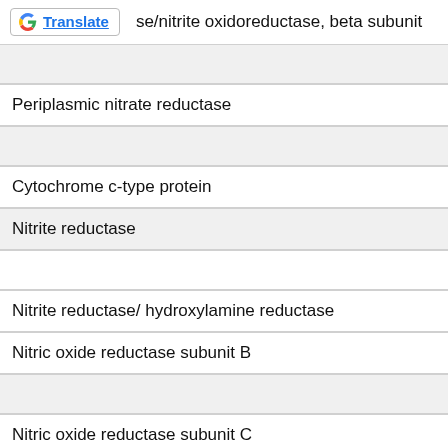se/nitrite oxidoreductase, beta subunit
Periplasmic nitrate reductase
Cytochrome c-type protein
Nitrite reductase
Nitrite reductase/ hydroxylamine reductase
Nitric oxide reductase subunit B
Nitric oxide reductase subunit C
Nitrous-oxide reductase